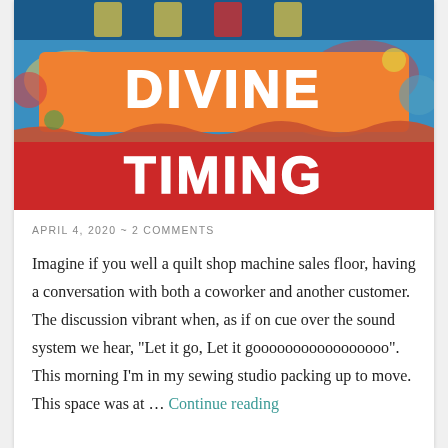[Figure (photo): Colorful mixed-media artwork with the words 'DIVINE' in orange letters on an orange block and 'TIMING' in white letters on a red block, set against a vibrant textured background of blues, greens, yellows, and reds.]
APRIL 4, 2020 ~ 2 COMMENTS
Imagine if you well a quilt shop machine sales floor, having a conversation with both a coworker and another customer. The discussion vibrant when, as if on cue over the sound system we hear, "Let it go, Let it gooooooooooooooooo". This morning I'm in my sewing studio packing up to move. This space was at … Continue reading